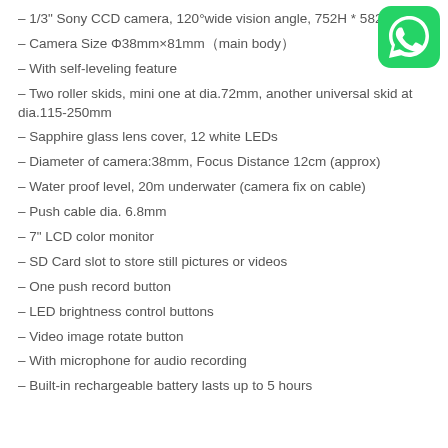– 1/3" Sony CCD camera, 120°wide vision angle, 752H * 582V pixels
[Figure (logo): WhatsApp green logo icon in top right corner]
– Camera Size Φ38mm×81mm（main body）
– With self-leveling feature
– Two roller skids, mini one at dia.72mm, another universal skid at dia.115-250mm
– Sapphire glass lens cover, 12 white LEDs
– Diameter of camera:38mm, Focus Distance 12cm (approx)
– Water proof level, 20m underwater (camera fix on cable)
– Push cable dia. 6.8mm
– 7" LCD color monitor
– SD Card slot to store still pictures or videos
– One push record button
– LED brightness control buttons
– Video image rotate button
– With microphone for audio recording
– Built-in rechargeable battery lasts up to 5 hours